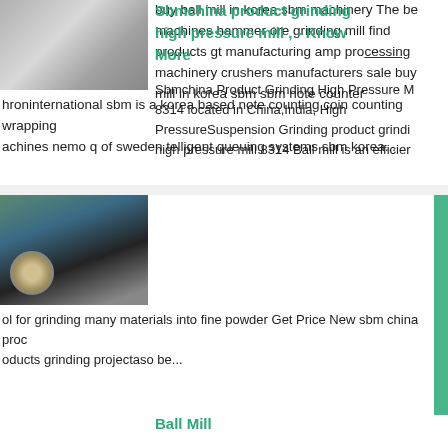[Figure (photo): Grayscale photo of industrial machinery or metal surface, top-left]
buy ball mill in korea sbm machinery The be machines hammer ore grinding mill find products gt manufacturing amp processing machinery crushers manufacturers sale buy mill in korea sbm sbm note counter hroninternational sbm is a korea based note counting coin counting wrapping achines nemo q of sweden telligent queuing systems sbm korea...
[Figure (photo): Photo of grinding mill machinery with circular component, industrial setting]
Sbmchina product grinding high pressure mill , - Know More
Sbmchina Product Grinding High Pressure M 8314 located in China,India, High PressureSuspension Grinding product grinding high pressure mill 8314 Ball mill is an efficient tool for grinding many materials into fine powder Get Price New sbm china products grinding projectaso be...
Ball Mill